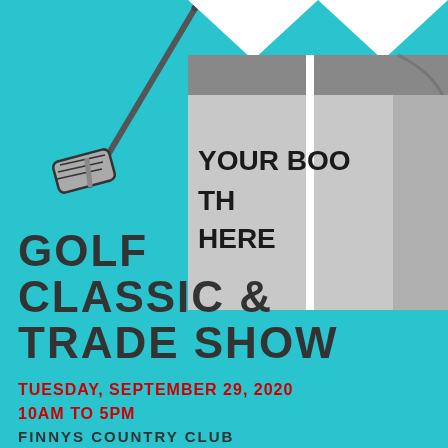[Figure (illustration): Golf club iron illustration in upper left area against teal background]
[Figure (illustration): Trade show booth/tent illustration in upper right area, gray and white, with text 'YOUR BOOTH HERE' inside]
GOLF CLASSIC & TRADE SHOW
TUESDAY, SEPTEMBER 29, 2020
10AM TO 5PM
FINNYS COUNTRY CLUB